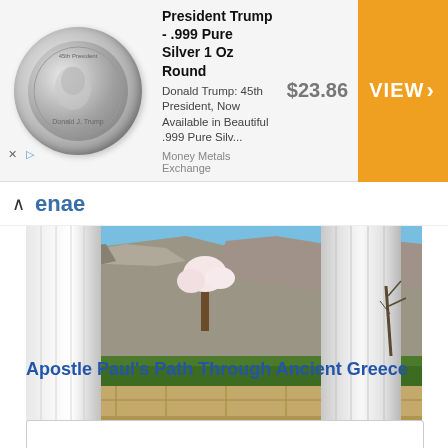[Figure (infographic): Advertisement banner: President Trump .999 Pure Silver 1 Oz Round coin ad from Money Metals Exchange, priced at $23.86 with an orange VIEW button]
enae
[Figure (photo): Ancient Greek ruins with two white marble columns in the foreground, rocky hillside with sparse vegetation and a flowering tree in the background, blue sky]
Apostle Paul's Path Through Ancient Greece